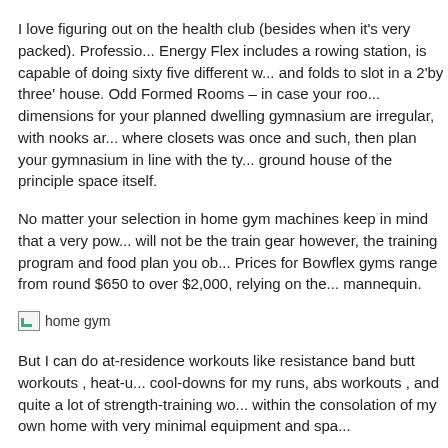I love figuring out on the health club (besides when it's very packed). Professio... Energy Flex includes a rowing station, is capable of doing sixty five different w... and folds to slot in a 2'by three' house. Odd Formed Rooms – in case your roo... dimensions for your planned dwelling gymnasium are irregular, with nooks ar... where closets was once and such, then plan your gymnasium in line with the ty... ground house of the principle space itself.
No matter your selection in home gym machines keep in mind that a very pow... will not be the train gear however, the training program and food plan you ob... Prices for Bowflex gyms range from round $650 to over $2,000, relying on the... mannequin.
[Figure (photo): Broken/placeholder image labeled 'home gym']
But I can do at-residence workouts like resistance band butt workouts , heat-u... cool-downs for my runs, abs workouts , and quite a lot of strength-training wo... within the consolation of my own home with very minimal equipment and spa...
One thing that all of these dwelling gyms have in common is that the client has... weights separately. That is a very powerful piece of kit you may want ...